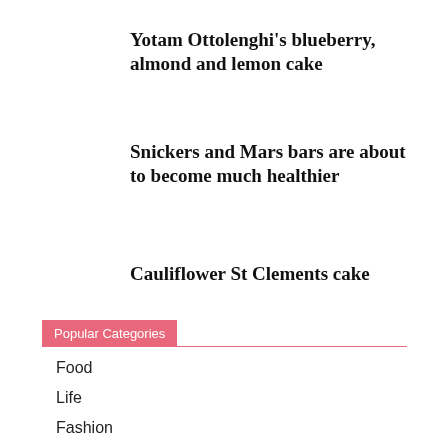Yotam Ottolenghi’s blueberry, almond and lemon cake
Snickers and Mars bars are about to become much healthier
Cauliflower St Clements cake
Popular Categories
Food
Life
Fashion